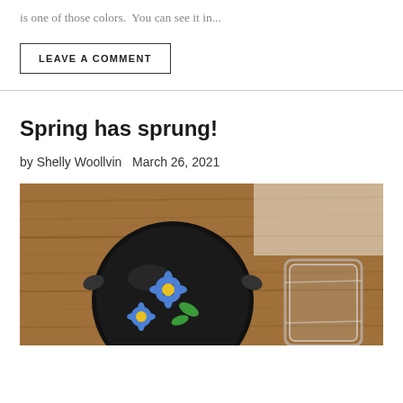is one of those colors.  You can see it in...
LEAVE A COMMENT
Spring has sprung!
by Shelly Woollvin   March 26, 2021
[Figure (photo): A black glass pendant with blue and green flowers resting on a wooden surface next to a clear glass cuff ring]